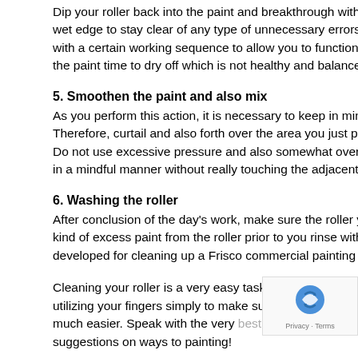Dip your roller back into the paint and breakthrough with to the next wet edge to stay clear of any type of unnecessary errors throughout with a certain working sequence to allow you to function smoothly right the paint time to dry off which is not healthy and balanced for the pai
5. Smoothen the paint and also mix
As you perform this action, it is necessary to keep in mind that you a Therefore, curtail and also forth over the area you just painted ahead Do not use excessive pressure and also somewhat overlap the previ in a mindful manner without really touching the adjacent wall surface
6. Washing the roller
After conclusion of the day's work, make sure the roller you simply m kind of excess paint from the roller prior to you rinse with water. Addi developed for cleaning up a Frisco commercial painting contractor ro
Cleaning your roller is a very easy task. With warm water and also cl utilizing your fingers simply to make sure complete lather much easier. Speak with the very best Frisco painting co suggestions on ways to painting!